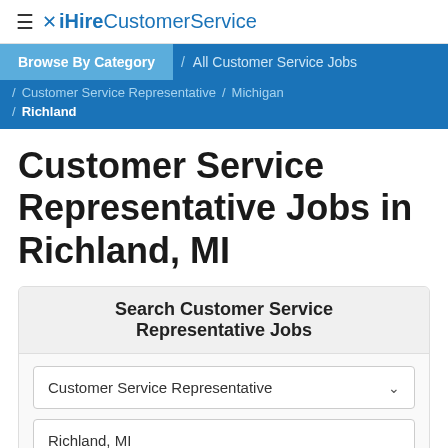≡ ✕ iHireCustomerService
Browse By Category / All Customer Service Jobs / Customer Service Representative / Michigan / Richland
Customer Service Representative Jobs in Richland, MI
Search Customer Service Representative Jobs
Customer Service Representative
Richland, MI